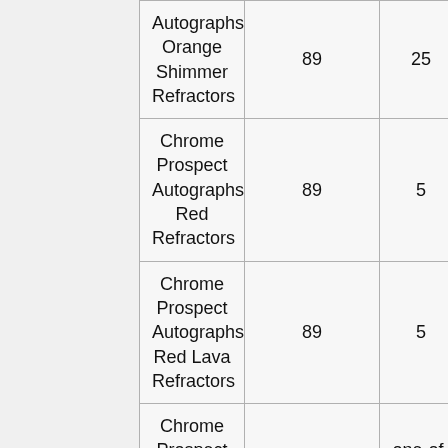| Card Name | Col2 | Col3 | Col4 |
| --- | --- | --- | --- |
| Autographs Orange Shimmer Refractors | 89 | 25 | ? |
| Chrome Prospect Autographs Red Refractors | 89 | 5 | ? |
| Chrome Prospect Autographs Red Lava Refractors | 89 | 5 | ? |
| Chrome Prospect Autographs SuperFractors | 89 | one-of-one | ? |